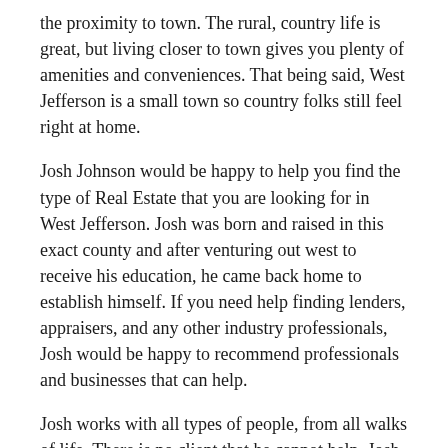the proximity to town. The rural, country life is great, but living closer to town gives you plenty of amenities and conveniences. That being said, West Jefferson is a small town so country folks still feel right at home.
Josh Johnson would be happy to help you find the type of Real Estate that you are looking for in West Jefferson. Josh was born and raised in this exact county and after venturing out west to receive his education, he came back home to establish himself. If you need help finding lenders, appraisers, and any other industry professionals, Josh would be happy to recommend professionals and businesses that can help.
Josh works with all types of people, from all walks of life. There is no client that he cannot help. Josh has assisted with real estate deals for first time home buyers as well as seasoned real estate investors and developers. Homes and land prices vary in West Jefferson and really throughout the county. Views and other special land features can make two equal properties vary greatly in price. Think about it – you'll pay a little extra for a little bit more of a view; a view that you can enjoy for a lifetime. Even still, the prices for West Jefferson